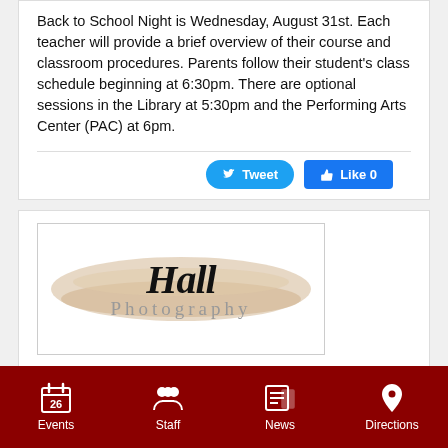Back to School Night is Wednesday, August 31st. Each teacher will provide a brief overview of their course and classroom procedures. Parents follow their student's class schedule beginning at 6:30pm. There are optional sessions in the Library at 5:30pm and the Performing Arts Center (PAC) at 6pm.
[Figure (logo): Hall Photography logo with script 'Hall' text over a tan brush stroke background and 'Photography' in grey serif text below]
Events | Staff | News | Directions